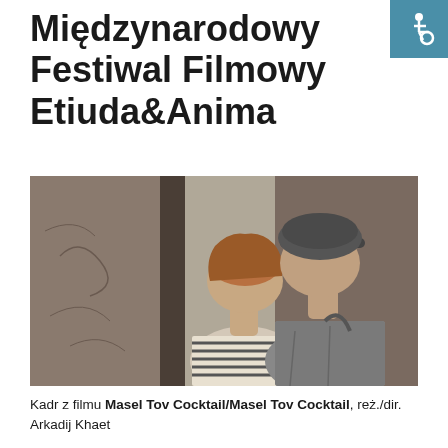Międzynarodowy Festiwal Filmowy Etiuda&Anima
[Figure (photo): A man wearing a baseball cap and a woman with short hair facing each other closely in what appears to be an elevator or corridor, suggesting an intimate or emotional scene.]
Kadr z filmu Masel Tov Cocktail/Masel Tov Cocktail, reż./dir. Arkadij Khaet